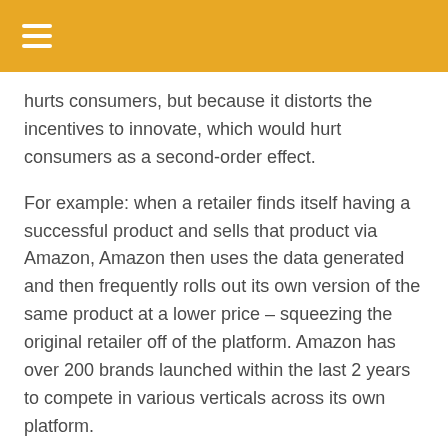hurts consumers, but because it distorts the incentives to innovate, which would hurt consumers as a second-order effect.
For example: when a retailer finds itself having a successful product and sells that product via Amazon, Amazon then uses the data generated and then frequently rolls out its own version of the same product at a lower price – squeezing the original retailer off of the platform. Amazon has over 200 brands launched within the last 2 years to compete in various verticals across its own platform.
Google's Nest Guard units contain an undocumented microphone